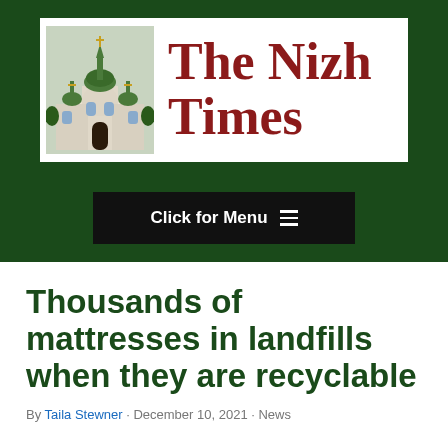[Figure (logo): The Nizh Times newspaper logo with a Ukrainian Orthodox church building illustration on the left and bold serif text 'The Nizh Times' in dark red on the right, set on a white background within a dark green header band.]
Thousands of mattresses in landfills when they are recyclable
By Taila Stewner · December 10, 2021 · News